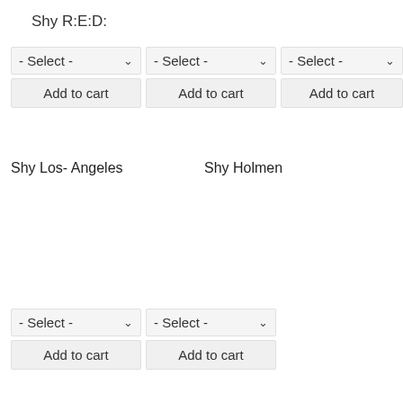Shy R:E:D:
- Select -
Add to cart
- Select -
Add to cart
- Select -
Add to cart
Shy Los- Angeles
Shy Holmen
- Select -
Add to cart
- Select -
Add to cart